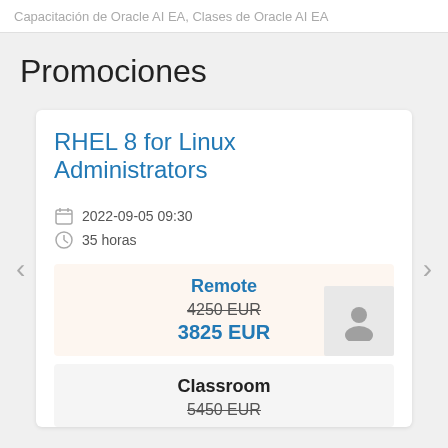Capacitación de Oracle AI EA, Clases de Oracle AI EA
Promociones
RHEL 8 for Linux Administrators
2022-09-05 09:30
35 horas
Remote
4250 EUR
3825 EUR
Classroom
5450 EUR